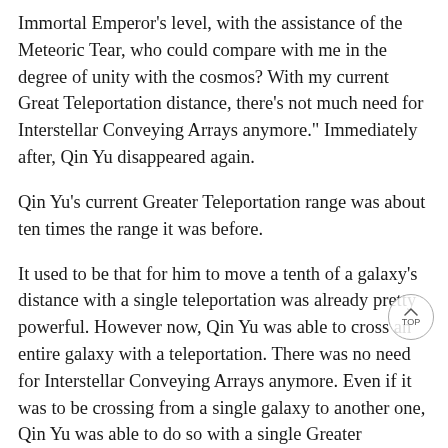Immortal Emperor's level, with the assistance of the Meteoric Tear, who could compare with me in the degree of unity with the cosmos? With my current Great Teleportation distance, there's not much need for Interstellar Conveying Arrays anymore." Immediately after, Qin Yu disappeared again.
Qin Yu's current Greater Teleportation range was about ten times the range it was before.
It used to be that for him to move a tenth of a galaxy's distance with a single teleportation was already pretty powerful. However now, Qin Yu was able to cross an entire galaxy with a teleportation. There was no need for Interstellar Conveying Arrays anymore. Even if it was to be crossing from a single galaxy to another one, Qin Yu was able to do so with a single Greater Teleportation.
Only when crossing from a star field to another star field, with the distance between the two being too great, would Qin Yu require the use of an Interstellar Conveying Array.
"The eighth stage was the Black Hole Realm, what exactly will the ninth stage be? Heheheh... there's no need for me to worry, all I need to do is continue my development according